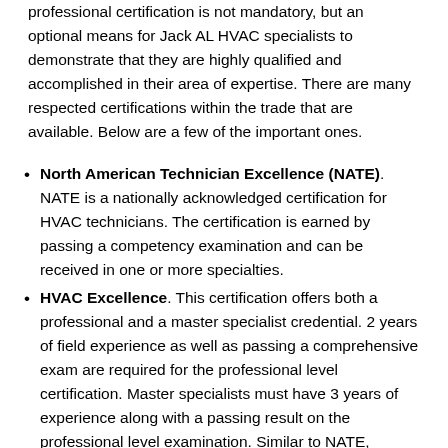professional certification is not mandatory, but an optional means for Jack AL HVAC specialists to demonstrate that they are highly qualified and accomplished in their area of expertise. There are many respected certifications within the trade that are available. Below are a few of the important ones.
North American Technician Excellence (NATE). NATE is a nationally acknowledged certification for HVAC technicians. The certification is earned by passing a competency examination and can be received in one or more specialties.
HVAC Excellence. This certification offers both a professional and a master specialist credential. 2 years of field experience as well as passing a comprehensive exam are required for the professional level certification. Master specialists must have 3 years of experience along with a passing result on the professional level examination. Similar to NATE,